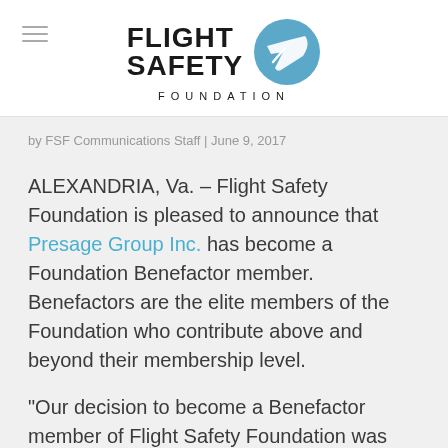[Figure (logo): Flight Safety Foundation logo with circular blue icon containing a white checkmark/arrow and text FLIGHT SAFETY FOUNDATION]
by FSF Communications Staff | June 9, 2017
ALEXANDRIA, Va. – Flight Safety Foundation is pleased to announce that Presage Group Inc. has become a Foundation Benefactor member. Benefactors are the elite members of the Foundation who contribute above and beyond their membership level.
“Our decision to become a Benefactor member of Flight Safety Foundation was one of the easiest business decisions we have made in our 15-year history, because we want to continue to be part of the most important